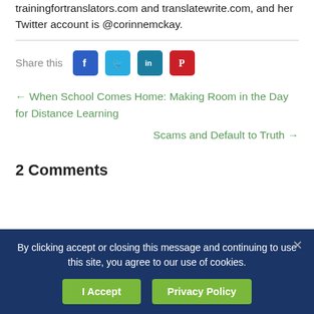trainingfortranslators.com and translatewrite.com, and her Twitter account is @corinnemckay.
Share this
[Figure (infographic): Social media share icons: Facebook (blue), Twitter (light blue), LinkedIn (teal), Pinterest (red)]
← When School Comes Home: Making Room in the Day for Distance Learning
Scams and Default to Truth →
2 Comments
By clicking accept or closing this message and continuing to use this site, you agree to our use of cookies.
I Accept
Privacy Policy